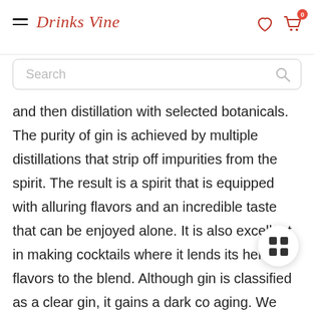Drinks Vine
and then distillation with selected botanicals. The purity of gin is achieved by multiple distillations that strip off impurities from the spirit. The result is a spirit that is equipped with alluring flavors and an incredible taste that can be enjoyed alone. It is also excellent in making cocktails where it lends its herbal flavors to the blend. Although gin is classified as a clear gin, it gains a dark co aging. We have made a list of the best gin in Kenya; this list is based on popularity and